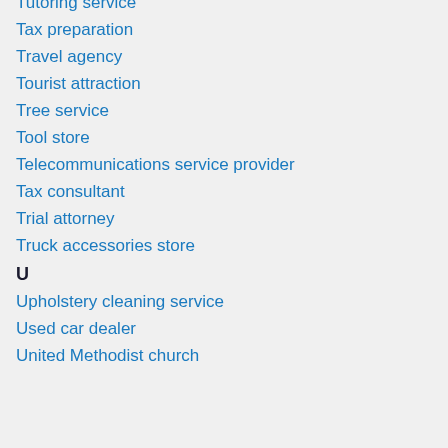Tutoring service
Tax preparation
Travel agency
Tourist attraction
Tree service
Tool store
Telecommunications service provider
Tax consultant
Trial attorney
Truck accessories store
U
Upholstery cleaning service
Used car dealer
United Methodist church